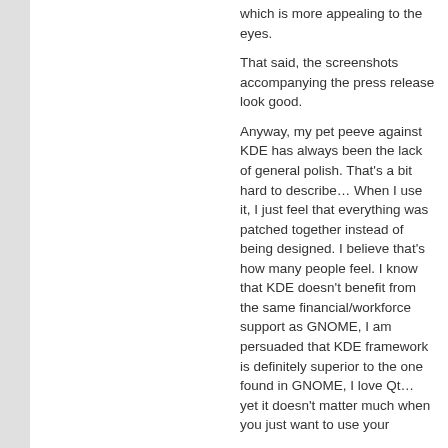which is more appealing to the eyes.
That said, the screenshots accompanying the press release look good.
Anyway, my pet peeve against KDE has always been the lack of general polish. That's a bit hard to describe… When I use it, I just feel that everything was patched together instead of being designed. I believe that's how many people feel. I know that KDE doesn't benefit from the same financial/workforce support as GNOME, I am persuaded that KDE framework is definitely superior to the one found in GNOME, I love Qt… yet it doesn't matter much when you just want to use your